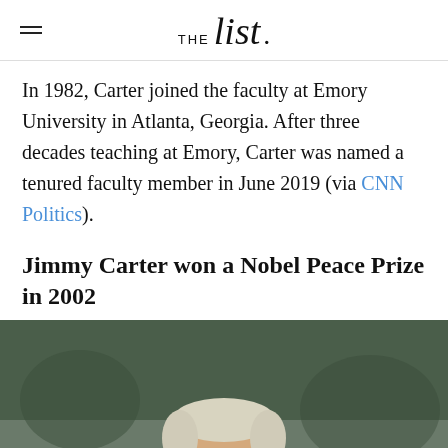THE list
In 1982, Carter joined the faculty at Emory University in Atlanta, Georgia. After three decades teaching at Emory, Carter was named a tenured faculty member in June 2019 (via CNN Politics).
Jimmy Carter won a Nobel Peace Prize in 2002
[Figure (photo): Photo of Jimmy Carter smiling, wearing a dark suit with a red tie, holding what appears to be a book or document, photographed at an indoor venue.]